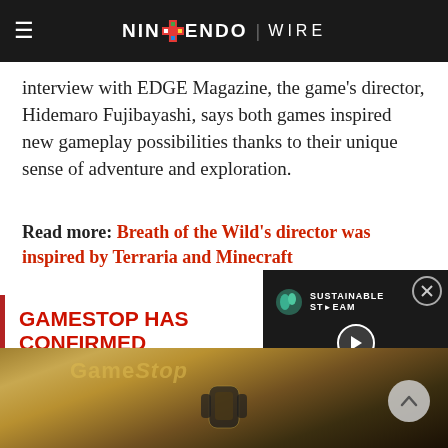NINTENDO WIRE
interview with EDGE Magazine, the game's director, Hidemaro Fujibayashi, says both games inspired new gameplay possibilities thanks to their unique sense of adventure and exploration.
Read more: Breath of the Wild's director was inspired by Terraria and Minecraft
GAMESTOP HAS CONFIRMED AN IN-STORE SWITCH EVENT ON MARCH 22ND
[Figure (screenshot): Video player popup overlay with Sustainable Stream branding, play button, and progress bar]
[Figure (photo): GameStop store interior with Nintendo Switch logo visible]